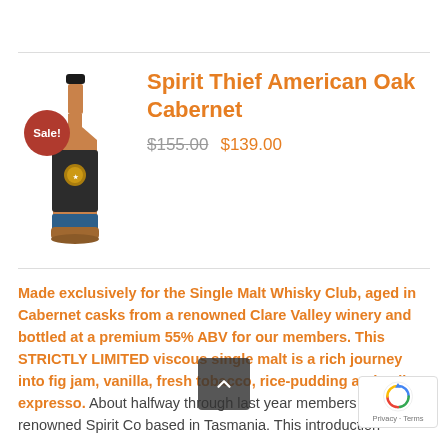[Figure (photo): Bottle of Spirit Thief American Oak Cabernet whisky with a dark cap, amber liquid, dark label with gold medallion, and a blue lower label. A red circular Sale! badge overlays the bottle image.]
Spirit Thief American Oak Cabernet
$155.00  $139.00
Made exclusively for the Single Malt Whisky Club, aged in Cabernet casks from a renowned Clare Valley winery and bottled at a premium 55% ABV for our members. This STRICTLY LIMITED viscous single malt is a rich journey into fig jam, vanilla, fresh tobacco, rice-pudding and Italian expresso. About halfway through last year... members to the renowned Spirit... Co based in Tasmania. This introduction was...